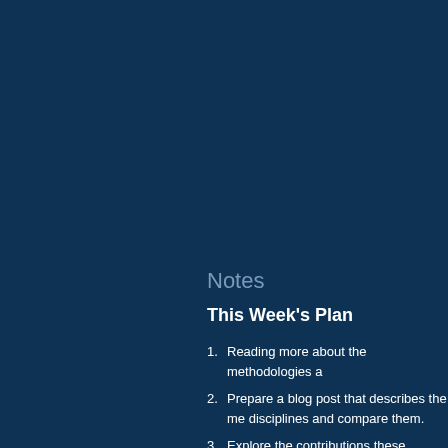Notes
This Week's Plan
Reading more about the methodologies a
Prepare a blog post that describes the me disciplines and compare them.
Explore the contributions these discipline
Publish a blog post that discusses the po science.